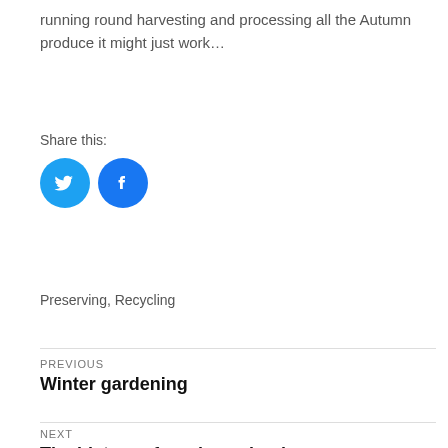running round harvesting and processing all the Autumn produce it might just work…
Share this:
[Figure (illustration): Two circular social media share buttons: Twitter (blue bird icon) and Facebook (blue f icon)]
Preserving, Recycling
PREVIOUS
Winter gardening
NEXT
The history of garden calendars